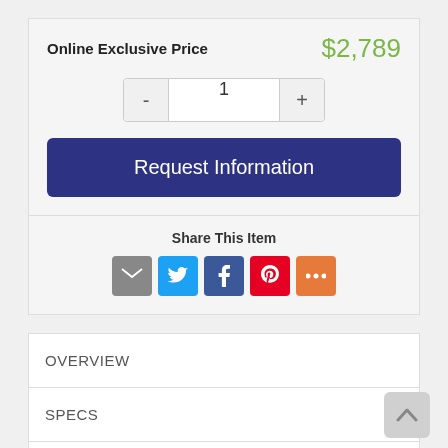Online Exclusive Price    $2,789
Request Information
Share This Item
[Figure (infographic): Social share icons: email (grey), Twitter (blue), Facebook (dark blue), Pinterest (red), More (orange)]
OVERVIEW
SPECS
VIDEOS